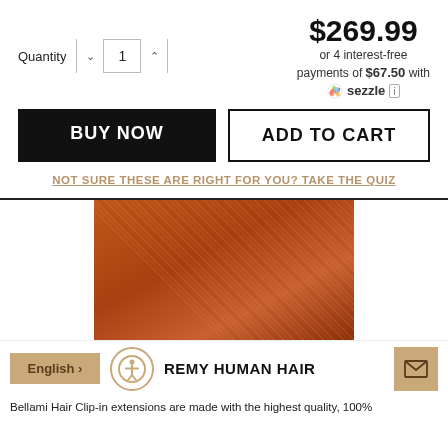$269.99
or 4 interest-free payments of $67.50 with Sezzle
Quantity 1
BUY NOW
ADD TO CART
NOT SURE THESE ARE RIGHT FOR YOU? TAKE THE QUIZ
[Figure (photo): Close-up of auburn/copper colored hair extensions texture]
English
REMY HUMAN HAIR
Bellami Hair Clip-in extensions are made with the highest quality, 100%